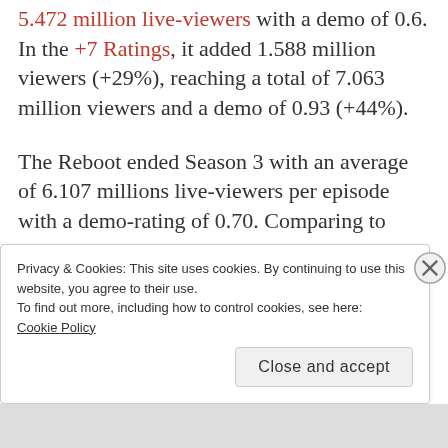5.472 million live-viewers with a demo of 0.6. In the +7 Ratings, it added 1.588 million viewers (+29%), reaching a total of 7.063 million viewers and a demo of 0.93 (+44%).
The Reboot ended Season 3 with an average of 6.107 millions live-viewers per episode with a demo-rating of 0.70. Comparing to Season 2, the show lost about 16% in demo and roughly 11% in
Privacy & Cookies: This site uses cookies. By continuing to use this website, you agree to their use.
To find out more, including how to control cookies, see here:
Cookie Policy
Close and accept